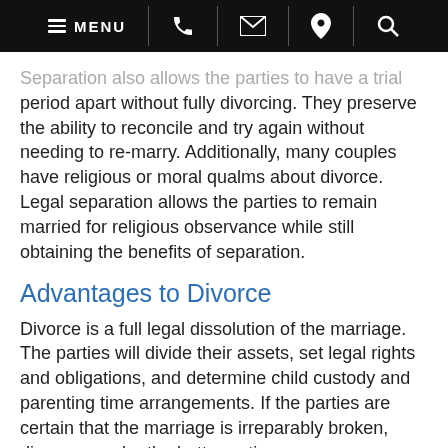MENU
Separation also allows the parties to have a trial period apart without fully divorcing. They preserve the ability to reconcile and try again without needing to re-marry. Additionally, many couples have religious or moral qualms about divorce. Legal separation allows the parties to remain married for religious observance while still obtaining the benefits of separation.
Advantages to Divorce
Divorce is a full legal dissolution of the marriage. The parties will divide their assets, set legal rights and obligations, and determine child custody and parenting time arrangements. If the parties are certain that the marriage is irreparably broken, divorce may be the better option.
Although divorced parties lose the tax and insurance coverage advantages of remaining married, divorce allows parties to fully separate and move on. Divorced